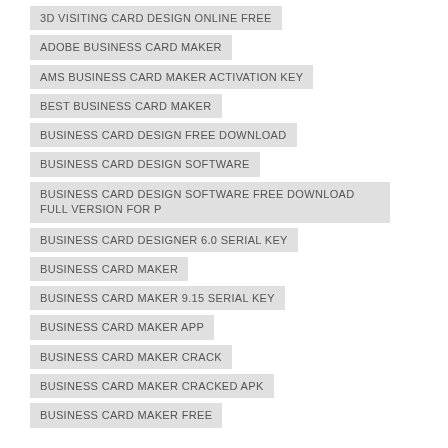3D VISITING CARD DESIGN ONLINE FREE
ADOBE BUSINESS CARD MAKER
AMS BUSINESS CARD MAKER ACTIVATION KEY
BEST BUSINESS CARD MAKER
BUSINESS CARD DESIGN FREE DOWNLOAD
BUSINESS CARD DESIGN SOFTWARE
BUSINESS CARD DESIGN SOFTWARE FREE DOWNLOAD FULL VERSION FOR P
BUSINESS CARD DESIGNER 6.0 SERIAL KEY
BUSINESS CARD MAKER
BUSINESS CARD MAKER 9.15 SERIAL KEY
BUSINESS CARD MAKER APP
BUSINESS CARD MAKER CRACK
BUSINESS CARD MAKER CRACKED APK
BUSINESS CARD MAKER FREE